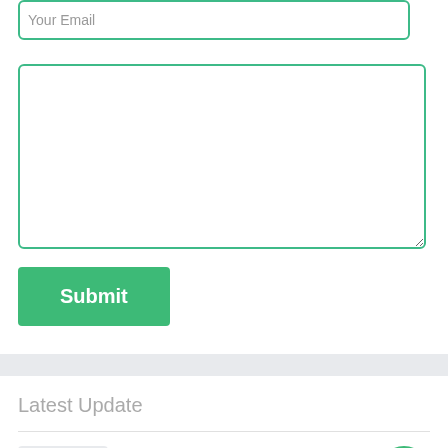Your Email
Submit
Latest Update
Aos Tv Mod Apk v0.0.3 Unlimited Money
v0.0.3 + MOD: For Android